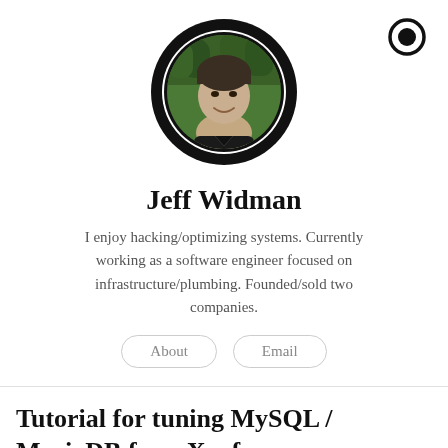[Figure (photo): Circular profile photo of Jeff Widman with a thick black border ring, showing a person smiling outdoors with trees/foliage in the background. A notification/record icon appears in the top-right corner.]
Jeff Widman
I enjoy hacking/optimizing systems. Currently working as a software engineer focused on infrastructure/plumbing. Founded/sold two companies.
About   Email
Tutorial for tuning MySQL / MariaDB for a Xenforo or WordPress VPS